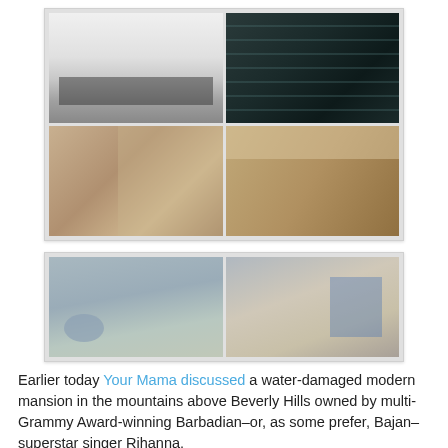[Figure (photo): Four-panel grid of interior photos: top-left shows a white modern bedroom with dark furniture; top-right shows dark glass/mirror panels; bottom-left shows a large walk-in closet with warm wood tones; bottom-right shows a brightly lit closet room with wood floors.]
[Figure (photo): Two-panel grid of exterior photos: left shows a pool area under overcast sky with an orange cone; right shows the exterior of a modern mansion with blue scaffolding/flags.]
Earlier today Your Mama discussed a water-damaged modern mansion in the mountains above Beverly Hills owned by multi-Grammy Award-winning Barbadian–or, as some prefer, Bajan–superstar singer Rihanna.